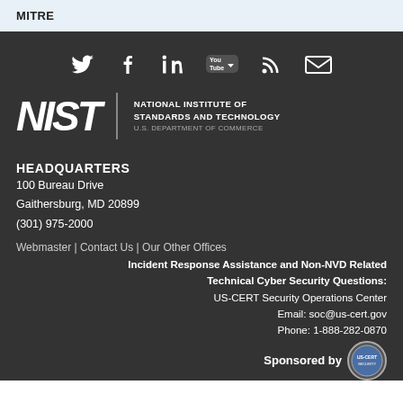MITRE
[Figure (illustration): Social media icons: Twitter, Facebook, LinkedIn, YouTube, RSS feed, Email]
[Figure (logo): NIST - National Institute of Standards and Technology, U.S. Department of Commerce logo]
HEADQUARTERS
100 Bureau Drive
Gaithersburg, MD 20899
(301) 975-2000
Webmaster | Contact Us | Our Other Offices
Incident Response Assistance and Non-NVD Related Technical Cyber Security Questions:
US-CERT Security Operations Center
Email: soc@us-cert.gov
Phone: 1-888-282-0870
Sponsored by